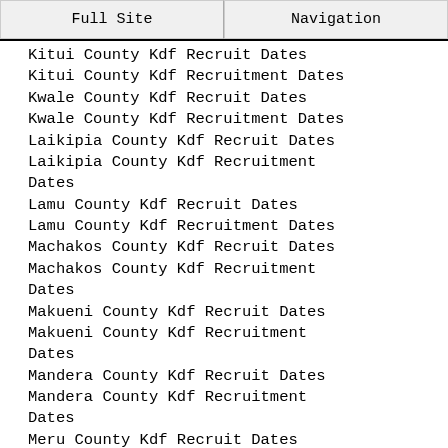Full Site | Navigation
Kitui County Kdf Recruit Dates
Kitui County Kdf Recruitment Dates
Kwale County Kdf Recruit Dates
Kwale County Kdf Recruitment Dates
Laikipia County Kdf Recruit Dates
Laikipia County Kdf Recruitment Dates
Lamu County Kdf Recruit Dates
Lamu County Kdf Recruitment Dates
Machakos County Kdf Recruit Dates
Machakos County Kdf Recruitment Dates
Makueni County Kdf Recruit Dates
Makueni County Kdf Recruitment Dates
Mandera County Kdf Recruit Dates
Mandera County Kdf Recruitment Dates
Meru County Kdf Recruit Dates